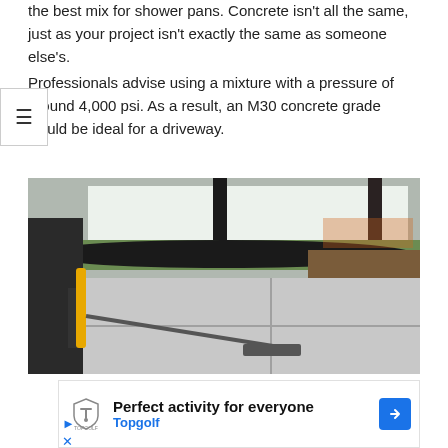the best mix for shower pans. Concrete isn't all the same, just as your project isn't exactly the same as someone else's.
Professionals advise using a mixture with a pressure of around 4,000 psi. As a result, an M30 concrete grade would be ideal for a driveway.
[Figure (photo): A worker smoothing freshly poured concrete on a driveway using a long-handled tool, with construction framing and greenery visible in the background.]
Perfect activity for everyone
Topgolf